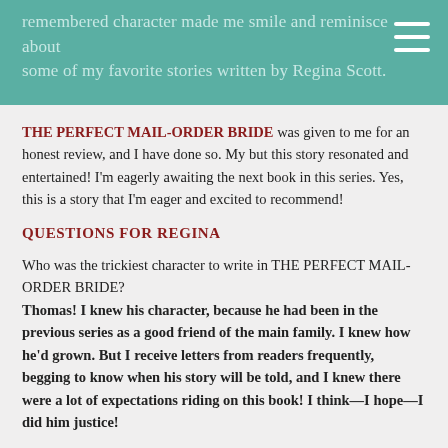remembered character made me smile and reminisce about some of my favorite stories written by Regina Scott.
THE PERFECT MAIL-ORDER BRIDE was given to me for an honest review, and I have done so. My but this story resonated and entertained! I'm eagerly awaiting the next book in this series. Yes, this is a story that I'm eager and excited to recommend!
QUESTIONS FOR REGINA
Who was the trickiest character to write in THE PERFECT MAIL-ORDER BRIDE?
Thomas! I knew his character, because he had been in the previous series as a good friend of the main family. I knew how he'd grown. But I receive letters from readers frequently, begging to know when his story will be told, and I knew there were a lot of expectations riding on this book! I think—I hope—I did him justice!
What is the favorite flaw that you created in your hero?